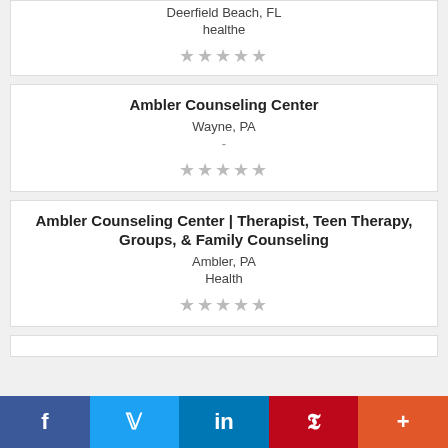Deerfield Beach, FL
healthe
★★★★★
Ambler Counseling Center
Wayne, PA
-
★★★★★
Ambler Counseling Center | Therapist, Teen Therapy, Groups, & Family Counseling
Ambler, PA
Health
★★★★★
f  Twitter  in  P  +